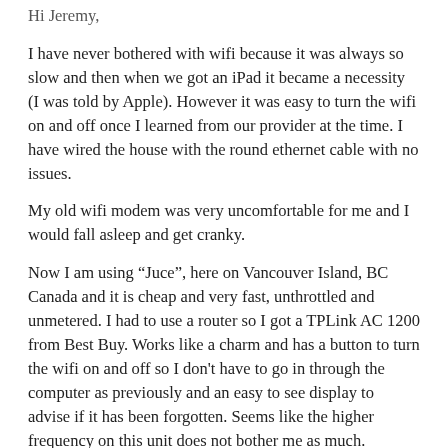Hi Jeremy,
I have never bothered with wifi because it was always so slow and then when we got an iPad it became a necessity (I was told by Apple). However it was easy to turn the wifi on and off once I learned from our provider at the time. I have wired the house with the round ethernet cable with no issues.
My old wifi modem was very uncomfortable for me and I would fall asleep and get cranky.
Now I am using “Juce”, here on Vancouver Island, BC Canada and it is cheap and very fast, unthrottled and unmetered. I had to use a router so I got a TPLink AC 1200 from Best Buy. Works like a charm and has a button to turn the wifi on and off so I don't have to go in through the computer as previously and an easy to see display to advise if it has been forgotten. Seems like the higher frequency on this unit does not bother me as much.
I have an app on my iMac called “iStumbler” that i can turn on and off periodically to see if my neighbors' wifi is getting strong. Luckily we are on the edge of town so houses are spread apart